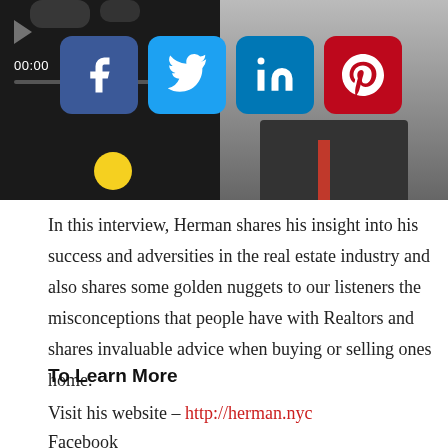[Figure (screenshot): Video player on the left showing 00:00 timer and yellow progress dot, with a black and white photo of a man in a suit on the right, and social media share buttons (Facebook, Twitter, LinkedIn, Pinterest) overlaid in the center top area.]
In this interview, Herman shares his insight into his success and adversities in the real estate industry and also shares some golden nuggets to our listeners the misconceptions that people have with Realtors and shares invaluable advice when buying or selling ones home.
To Learn More
Visit his website – http://herman.nyc
Facebook